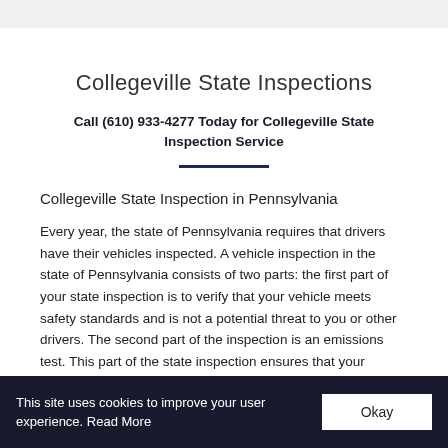Collegeville State Inspections
Call (610) 933-4277 Today for Collegeville State Inspection Service
Collegeville State Inspection in Pennsylvania
Every year, the state of Pennsylvania requires that drivers have their vehicles inspected. A vehicle inspection in the state of Pennsylvania consists of two parts: the first part of your state inspection is to verify that your vehicle meets safety standards and is not a potential threat to you or other drivers. The second part of the inspection is an emissions test. This part of the state inspection ensures that your vehicle is not emitting too much harmful
This site uses cookies to improve your user experience. Read More